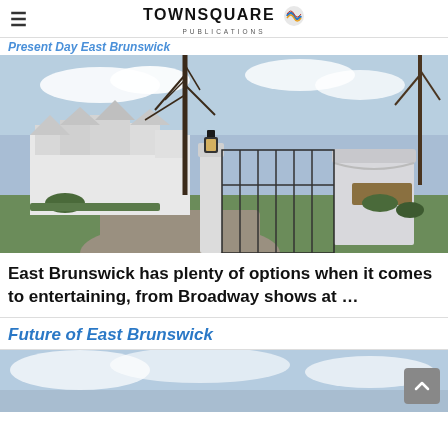TOWNSQUARE PUBLICATIONS
Present Day East Brunswick
[Figure (photo): Iron gate entrance to a large white estate house with brick pillars and a lantern, bare trees in background, cobblestone driveway, green lawn, springtime New Jersey suburban setting]
East Brunswick has plenty of options when it comes to entertaining, from Broadway shows at ...
Future of East Brunswick
[Figure (photo): Partial view of a sky with clouds, bottom portion of next section photo]